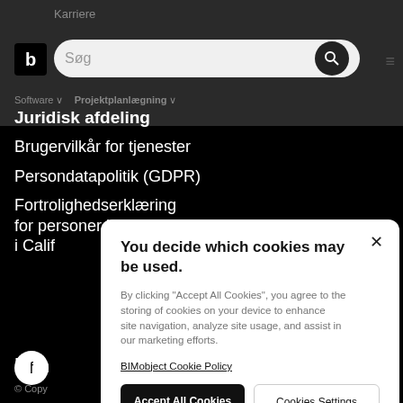Karriere
[Figure (screenshot): Navigation bar with logo 'b', search box with placeholder 'Søg', search button icon, and hamburger menu]
Software  ∨    Projektplanlægning  ∨
Juridisk afdeling
Brugervilkår for tjenester
Persondatapolitik (GDPR)
Fortrolighedserklæring for personer bosiddende i Calif
[Figure (screenshot): Facebook social icon (white circle with 'f' on black background)]
bim
© Copy
You decide which cookies may be used.

By clicking "Accept All Cookies", you agree to the storing of cookies on your device to enhance site navigation, analyze site usage, and assist in our marketing efforts.

BIMobject Cookie Policy

Accept All Cookies    Cookies Settings